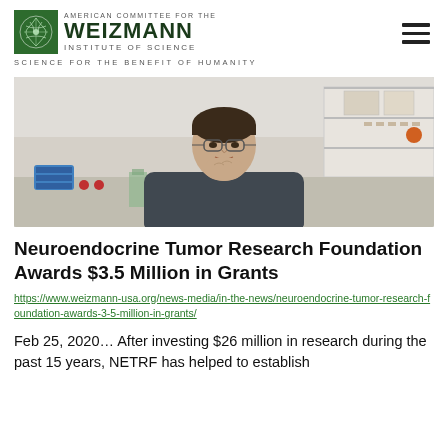[Figure (logo): American Committee for the Weizmann Institute of Science logo with tree emblem and tagline 'Science for the Benefit of Humanity']
[Figure (photo): Photograph of a male researcher sitting in a laboratory, resting his chin on his hand, with lab equipment visible in the background]
Neuroendocrine Tumor Research Foundation Awards $3.5 Million in Grants
https://www.weizmann-usa.org/news-media/in-the-news/neuroendocrine-tumor-research-foundation-awards-3-5-million-in-grants/
Feb 25, 2020... After investing $26 million in research during the past 15 years, NETRF has helped to establish